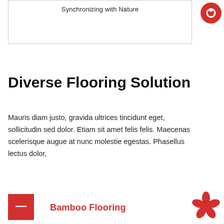[Figure (other): A bordered box with the text 'Synchronizing with Nature' at the top]
[Figure (logo): Red circle with a small white eye/circle icon inside, top right corner]
Diverse Flooring Solution
Mauris diam justo, gravida ultrices tincidunt eget, sollicitudin sed dolor. Etiam sit amet felis felis. Maecenas scelerisque augue at nunc molestie egestas. Phasellus lectus dolor,
[Figure (logo): Red square with white dash/minus icon]
Bamboo Flooring
[Figure (illustration): Red flower/asterisk decorative icon, bottom right corner]